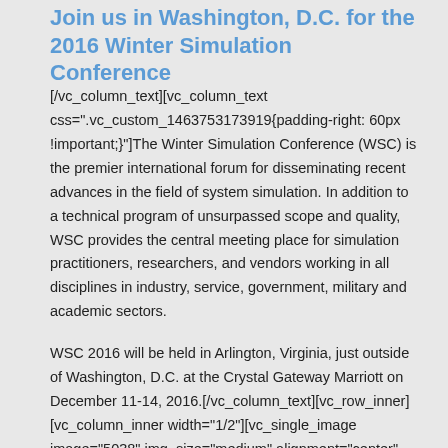Join us in Washington, D.C. for the 2016 Winter Simulation Conference
[/vc_column_text][vc_column_text css=".vc_custom_1463753173919{padding-right: 60px !important;}"]The Winter Simulation Conference (WSC) is the premier international forum for disseminating recent advances in the field of system simulation. In addition to a technical program of unsurpassed scope and quality, WSC provides the central meeting place for simulation practitioners, researchers, and vendors working in all disciplines in industry, service, government, military and academic sectors.
WSC 2016 will be held in Arlington, Virginia, just outside of Washington, D.C. at the Crystal Gateway Marriott on December 11-14, 2016.[/vc_column_text][vc_row_inner][vc_column_inner width="1/2"][vc_single_image image="5038" img_size="medium" alignment="center"